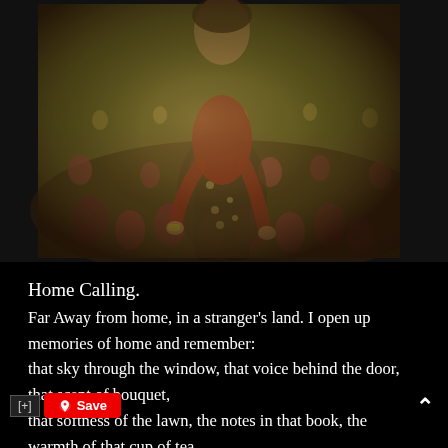[Figure (photo): Vintage-toned photo of a woman in a red outfit and floral skirt bending over a garden bed full of colorful tulips and flowers. A black sidebar on the right shows rotated white text reading 'NABOX'.]
Home Calling.
Far Away from home, in a stranger's land. I open up memories of home and remember:
that sky through the window, that voice behind the door, that scent of bouquet,
that softness of the lawn, the notes in that book, the warmth of that cup of tea.
the longing of the thread, the touch of the needle, the richness of the